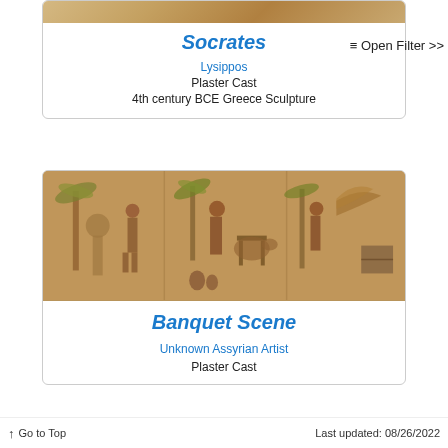[Figure (photo): Top portion of a plaster cast sculpture on a wooden surface, partially cropped]
Socrates
Lysippos
Plaster Cast
4th century BCE Greece Sculpture
≡ Open Filter >>
[Figure (photo): A golden-brown plaster cast relief showing an Assyrian banquet scene with figures, palm trees, animals, and furniture in low relief]
Banquet Scene
Unknown Assyrian Artist
Plaster Cast
↑ Go to Top    Last updated: 08/26/2022